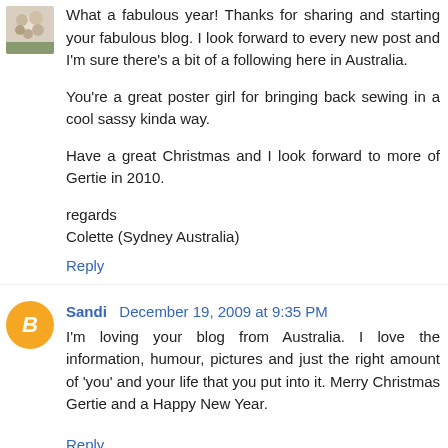What a fabulous year! Thanks for sharing and starting your fabulous blog. I look forward to every new post and I'm sure there's a bit of a following here in Australia.

You're a great poster girl for bringing back sewing in a cool sassy kinda way.

Have a great Christmas and I look forward to more of Gertie in 2010.

regards
Colette (Sydney Australia)
Reply
Sandi December 19, 2009 at 9:35 PM
I'm loving your blog from Australia. I love the information, humour, pictures and just the right amount of 'you' and your life that you put into it. Merry Christmas Gertie and a Happy New Year.
Reply